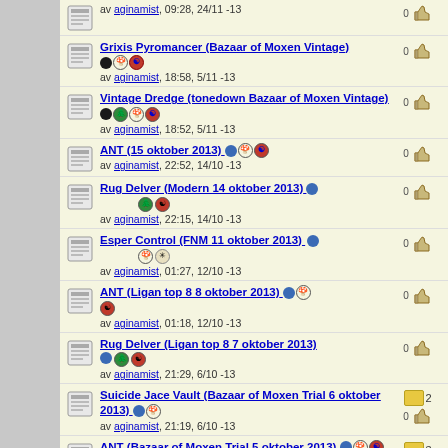av aginamist, 09:28, 24/11 -13 | 0 votes
Grixis Pyromancer (Bazaar of Moxen Vintage) av aginamist, 18:58, 5/11 -13 | 0 votes
Vintage Dredge (tonedown Bazaar of Moxen Vintage) av aginamist, 18:52, 5/11 -13 | 0 votes
ANT (15 oktober 2013) av aginamist, 22:52, 14/10 -13 | 0 votes
Rug Delver (Modern 14 oktober 2013) av aginamist, 22:15, 14/10 -13 | 0 votes
Esper Control (FNM 11 oktober 2013) av aginamist, 01:27, 12/10 -13 | 0 votes
ANT (Ligan top 8 8 oktober 2013) av aginamist, 01:18, 12/10 -13 | 0 votes
Rug Delver (Ligan top 8 7 oktober 2013) av aginamist, 21:29, 6/10 -13 | 0 votes
Suicide Jace Vault (Bazaar of Moxen Trial 6 oktober 2013) av aginamist, 21:19, 6/10 -13 | 0 votes | 2 comments
ANT (Bazaar of Moxen Trial 5 oktober 2013) av aginamist, 22:02, 5/10 -13 | 0 votes | 3 comments
Esper Control (FNM 27 september 2013) av aginamist, 21:38, 29/9 -13 | 0 votes